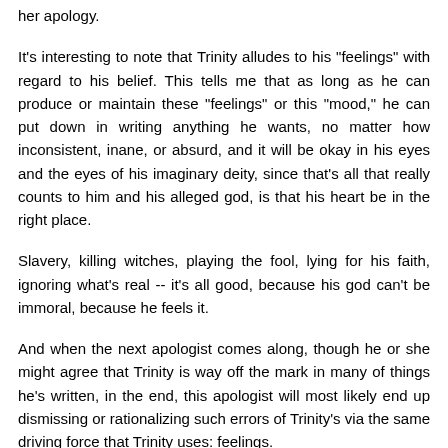her apology.
It's interesting to note that Trinity alludes to his "feelings" with regard to his belief. This tells me that as long as he can produce or maintain these "feelings" or this "mood," he can put down in writing anything he wants, no matter how inconsistent, inane, or absurd, and it will be okay in his eyes and the eyes of his imaginary deity, since that's all that really counts to him and his alleged god, is that his heart be in the right place.
Slavery, killing witches, playing the fool, lying for his faith, ignoring what's real -- it's all good, because his god can't be immoral, because he feels it.
And when the next apologist comes along, though he or she might agree that Trinity is way off the mark in many of things he's written, in the end, this apologist will most likely end up dismissing or rationalizing such errors of Trinity's via the same driving force that Trinity uses: feelings.
Ydemoc